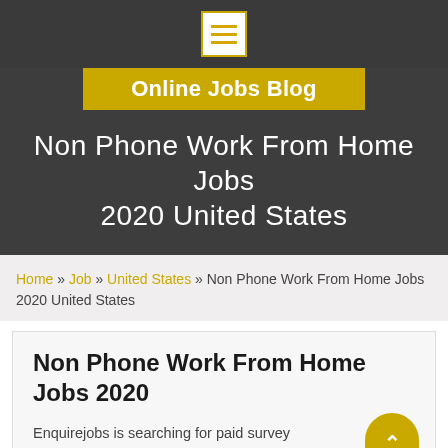Online Jobs Blog
Non Phone Work From Home Jobs 2020 United States
Home » Job » United States » Non Phone Work From Home Jobs 2020 United States
Non Phone Work From Home Jobs 2020
Enquirejobs is searching for paid survey participants to help shape popular brands'